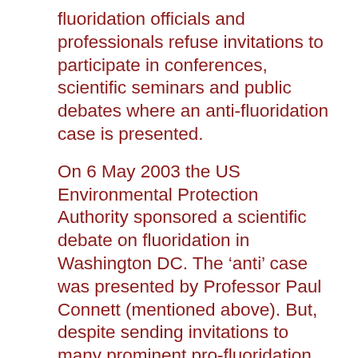fluoridation officials and professionals refuse invitations to participate in conferences, scientific seminars and public debates where an anti-fluoridation case is presented.
On 6 May 2003 the US Environmental Protection Authority sponsored a scientific debate on fluoridation in Washington DC. The ‘anti’ case was presented by Professor Paul Connett (mentioned above). But, despite sending invitations to many prominent pro-fluoridation doctors and dentists, the EPA could find no-one willing to present the pro-fluoridation case at the ‘debate’. In Australia and New Zealand, pro-fluoridation authorities have also refused to debate Professor Connett and other sci- entific opponents of fluoridation. This suggests that